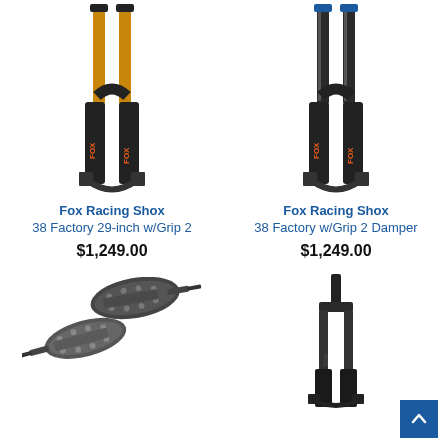[Figure (photo): Fox Racing Shox 38 mountain bike suspension fork with gold/orange stanchions, black lower legs, fox branding]
Fox Racing Shox
38 Factory 29-inch w/Grip 2
$1,249.00
[Figure (photo): Fox Racing Shox 38 mountain bike suspension fork, all black with orange fox logo]
Fox Racing Shox
38 Factory w/Grip 2 Damper
$1,249.00
[Figure (photo): Pair of clipless mountain bike pedals, gunmetal/dark gray metallic]
[Figure (photo): Black mountain bike suspension fork, slimmer profile]